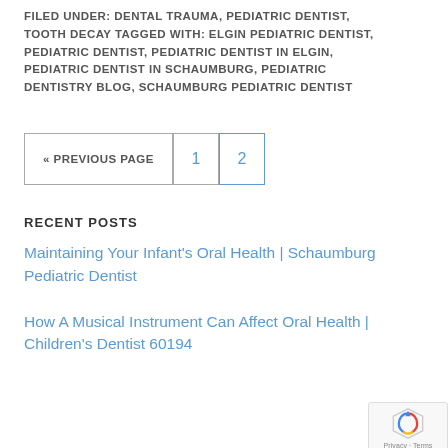FILED UNDER: DENTAL TRAUMA, PEDIATRIC DENTIST, TOOTH DECAY TAGGED WITH: ELGIN PEDIATRIC DENTIST, PEDIATRIC DENTIST, PEDIATRIC DENTIST IN ELGIN, PEDIATRIC DENTIST IN SCHAUMBURG, PEDIATRIC DENTISTRY BLOG, SCHAUMBURG PEDIATRIC DENTIST
« PREVIOUS PAGE
1
2
RECENT POSTS
Maintaining Your Infant's Oral Health | Schaumburg Pediatric Dentist
How A Musical Instrument Can Affect Oral Health | Children's Dentist 60194